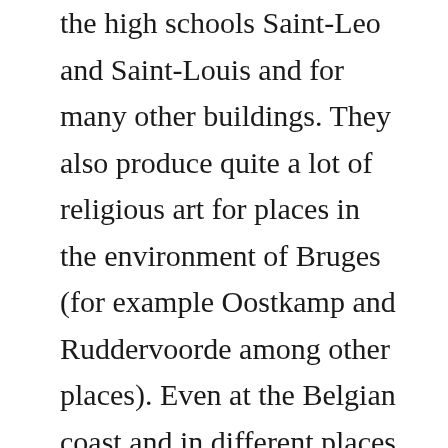the high schools Saint-Leo and Saint-Louis and for many other buildings. They also produce quite a lot of religious art for places in the environment of Bruges (for example Oostkamp and Ruddervoorde among other places). Even at the Belgian coast and in different places in the whole province of West-Flanders (for example even Zarren and Poelkapelle!) works of the De Wispelaeres can be admired.